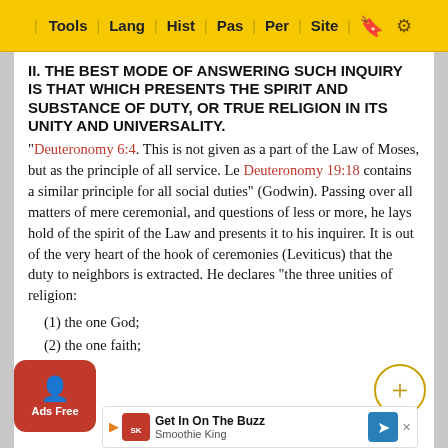Tools | Lang | Hist | Pas | Per | Site
II. THE BEST MODE OF ANSWERING SUCH INQUIRY IS THAT WHICH PRESENTS THE SPIRIT AND SUBSTANCE OF DUTY, OR TRUE RELIGION IN ITS UNITY AND UNIVERSALITY.
"Deuteronomy 6:4. This is not given as a part of the Law of Moses, but as the principle of all service. Le Deuteronomy 19:18 contains a similar principle for all social duties" (Godwin). Passing over all matters of mere ceremonial, and questions of less or more, he lays hold of the spirit of the Law and presents it to his inquirer. It is out of the very heart of the hook of ceremonies (Leviticus) that the duty to neighbors is extracted. He declares "the three unities of religion:
(1) the one God;
(2) the one faith;
(3) th...